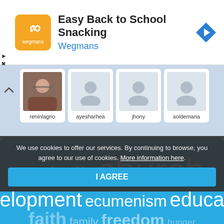[Figure (screenshot): Advertisement banner for Wegmans 'Easy Back to School Snacking' with orange logo and blue arrow icon]
[Figure (screenshot): Followers strip showing user avatars: reninlagrio (photo), ayesharhea, jhony, soldemaria (default avatars)]
tags :
catholic church
development ecumenism education
faith family freedom hunger
We use cookies to offer our services. By continuing to browse, you agree to our use of cookies. More information here.
I AGREE